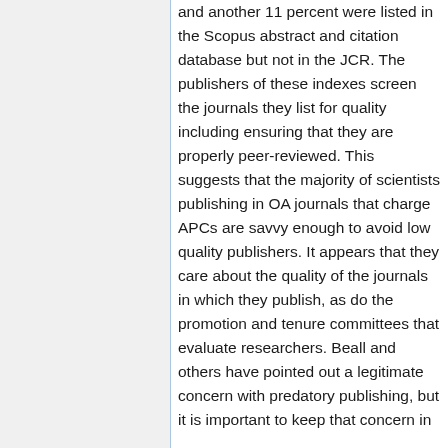and another 11 percent were listed in the Scopus abstract and citation database but not in the JCR. The publishers of these indexes screen the journals they list for quality including ensuring that they are properly peer-reviewed. This suggests that the majority of scientists publishing in OA journals that charge APCs are savvy enough to avoid low quality publishers. It appears that they care about the quality of the journals in which they publish, as do the promotion and tenure committees that evaluate researchers. Beall and others have pointed out a legitimate concern with predatory publishing, but it is important to keep that concern in...